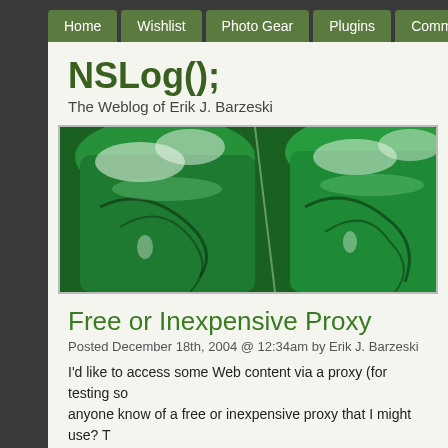Home | Wishlist | Photo Gear | Plugins | Comment Policy
NSLog();
The Weblog of Erik J. Barzeski
[Figure (photo): Close-up photograph of wine glasses filled with bright green liquid, viewed from above at a slight angle, showing the rich emerald color and bubbles/ice.]
Free or Inexpensive Proxy
Posted December 18th, 2004 @ 12:34am by Erik J. Barzeski
I'd like to access some Web content via a proxy (for testing som anyone know of a free or inexpensive proxy that I might use? T have a password and should let me view content via HTTP(